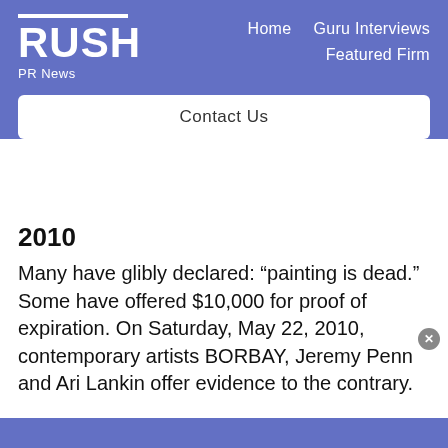RUSH PR News — Home   Guru Interviews   Featured Firm   Contact Us
2010
Many have glibly declared: “painting is dead.” Some have offered $10,000 for proof of expiration. On Saturday, May 22, 2010, contemporary artists BORBAY, Jeremy Penn and Ari Lankin offer evidence to the contrary.